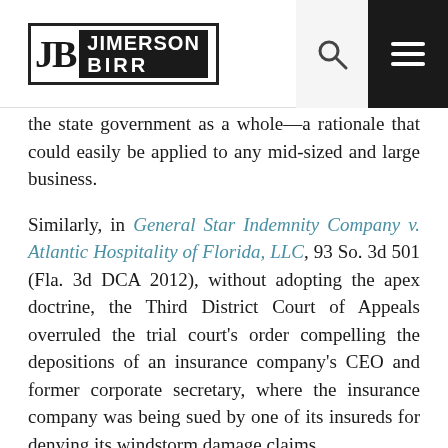Jimerson Birr
the state government as a whole—a rationale that could easily be applied to any mid-sized and large business.
Similarly, in General Star Indemnity Company v. Atlantic Hospitality of Florida, LLC, 93 So. 3d 501 (Fla. 3d DCA 2012), without adopting the apex doctrine, the Third District Court of Appeals overruled the trial court's order compelling the depositions of an insurance company's CEO and former corporate secretary, where the insurance company was being sued by one of its insureds for denying its windstorm damage claims.
The plaintiff-insured's basis for deposing both of these high-ranking officers was that their signatures appeared on its policy, and that the president had knowledge of a loss assessment that had been prepared by a filed-level